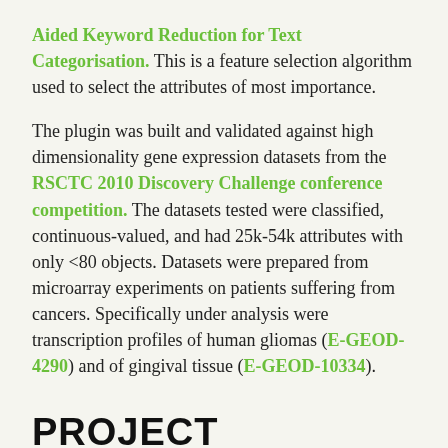Aided Keyword Reduction for Text Categorisation. This is a feature selection algorithm used to select the attributes of most importance.
The plugin was built and validated against high dimensionality gene expression datasets from the RSCTC 2010 Discovery Challenge conference competition. The datasets tested were classified, continuous-valued, and had 25k-54k attributes with only <80 objects. Datasets were prepared from microarray experiments on patients suffering from cancers. Specifically under analysis were transcription profiles of human gliomas (E-GEOD-4290) and of gingival tissue (E-GEOD-10334).
PROJECT
Author: Peter Scully (pds7@aber.ac.uk)